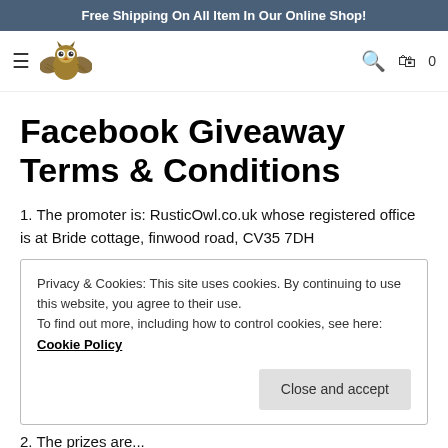Free Shipping On All Item In Our Online Shop!
[Figure (logo): Rustic Owl website navigation bar with hamburger menu, owl logo, search icon, and cart icon showing 0 items]
Facebook Giveaway Terms & Conditions
1. The promoter is: RusticOwl.co.uk whose registered office is at Bride cottage, finwood road, CV35 7DH
Privacy & Cookies: This site uses cookies. By continuing to use this website, you agree to their use. To find out more, including how to control cookies, see here: Cookie Policy
2. The prizes are...